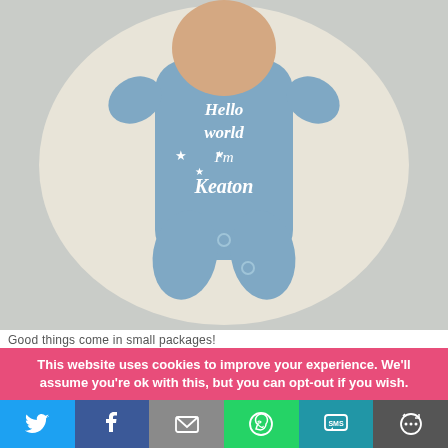[Figure (photo): Baby wearing a light blue onesie/sleepsuit that reads 'Hello world I'm Keaton' with star decorations, lying on a white surface.]
Good things come in small packages!
This website uses cookies to improve your experience. We'll assume you're ok with this, but you can opt-out if you wish.
[Figure (infographic): Social share bar with icons for Twitter, Facebook, Email, WhatsApp, SMS, and More.]